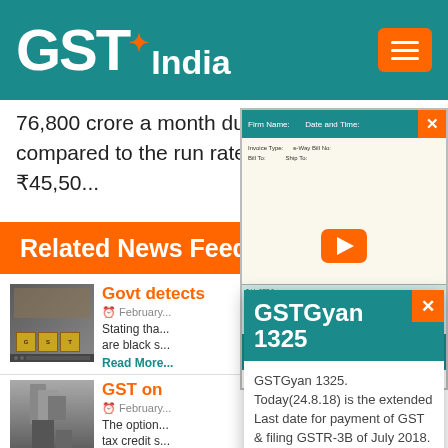[Figure (logo): GST India logo with teal background and hamburger menu]
76,800 crore a month during the l... compared to the run rate of ₹45,50...
Related News Feed
[Figure (screenshot): E-Way Bill Automation video popup with play button]
E-Way Bill Automation
[Figure (photo): GST blocks on keyboard - news thumbnail]
Govt detects
February...
Stating tha... are black s...
Read More
[Figure (photo): Construction site - news thumbnail for GST on real estate]
GST on
February...
The option... tax credit s...
Read More
[Figure (screenshot): GSTGyan 1325 popup notification with subscribe button]
GSTGyan 1325
GSTGyan 1325. Today(24.8.18) is the extended Last date for payment of GST & filing GSTR-3B of July 2018. Notif...
Subscribe for more GST Gyan